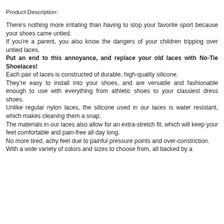Product Description:
There’s nothing more irritating than having to stop your favorite sport because your shoes came untied.
If you’re a parent, you also know the dangers of your children tripping over untied laces.
Put an end to this annoyance, and replace your old laces with No-Tie Shoelaces!
Each pair of laces is constructed of durable, high-quality silicone.
They’re easy to install into your shoes, and are versatile and fashionable enough to use with everything from athletic shoes to your classiest dress shoes.
Unlike regular nylon laces, the silicone used in our laces is water resistant, which makes cleaning them a snap.
The materials in our laces also allow for an extra-stretch fit, which will keep your feet comfortable and pain-free all day long.
No more tired, achy feet due to painful pressure points and over-constriction.
With a wide variety of colors and sizes to choose from, all backed by a